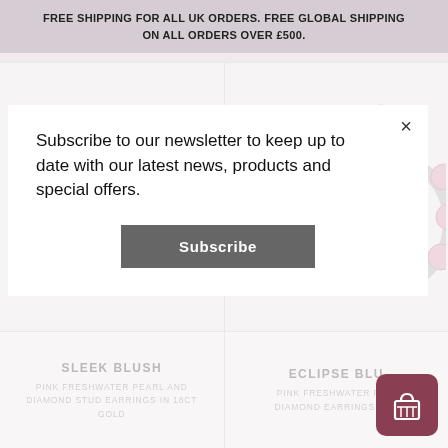FREE SHIPPING FOR ALL UK ORDERS. FREE GLOBAL SHIPPING ON ALL ORDERS OVER £500.
Subscribe to our newsletter to keep up to date with our latest news, products and special offers.
Subscribe
[Figure (photo): Pink freshwater pearl and diamond stud earrings in rose gold - two earrings side by side]
[Figure (photo): Pink freshwater pearl and diamond hoop earrings in white gold - close up of two earrings]
SLEEK BLUSH
PINK FRESHWATER PEARL AND DIAMOND STUD EARRINGS IN 18CT GOLD
ECLIPSE BLU
PINK FRESHWATER PE… DIAMOND EARRINGS IN…